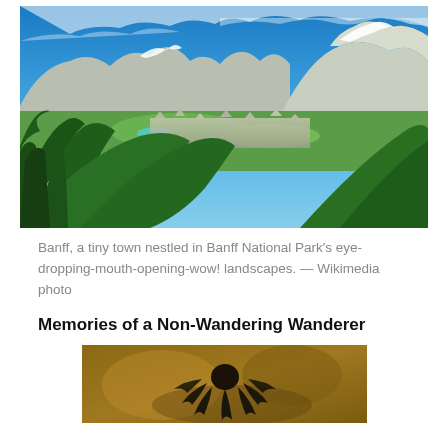[Figure (photo): Aerial panoramic view of Banff town nestled in a valley surrounded by dense green forests and snow-capped Rocky Mountains under a blue sky with wispy clouds.]
Banff, a tiny town nestled in Banff National Park's eye-dropping-mouth-opening-wow! landscapes. — Wikimedia photo
Memories of a Non-Wandering Wanderer
[Figure (photo): Close-up photo of a dark flower, possibly a sunflower or coneflower, with blurred warm brown background.]